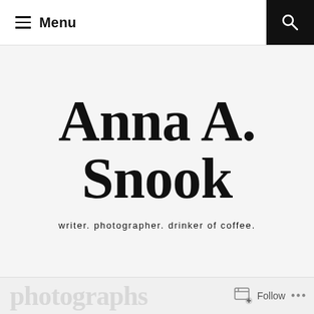≡ Menu
Anna A. Snook
writer. photographer. drinker of coffee.
photographs  Follow ...